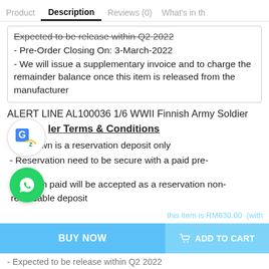Product  Description  Reviews (0)  What's in th
Expected to be release within Q2 2022
- Pre-Order Closing On: 3-March-2022
- We will issue a supplementary invoice and to charge the remainder balance once this item is released from the manufacturer
ALERT LINE AL100036 1/6 WWII Finnish Army Soldier
Pre-Order Terms & Conditions
- Price shown is a reservation deposit only
- Reservation need to be secure with a paid pre-
- reservation paid will be accepted as a reservation non-refundable deposit
this item is RM630.00 (with
BUY NOW
ADD TO CART
- Expected to be release within Q2 2022